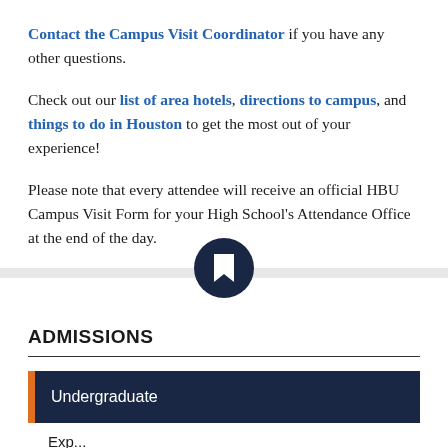Contact the Campus Visit Coordinator if you have any other questions.
Check out our list of area hotels, directions to campus, and things to do in Houston to get the most out of your experience!
Please note that every attendee will receive an official HBU Campus Visit Form for your High School's Attendance Office at the end of the day.
[Figure (illustration): Dark navy circle with white bookmark/ribbon icon in center, used as a decorative section divider]
ADMISSIONS
Undergraduate